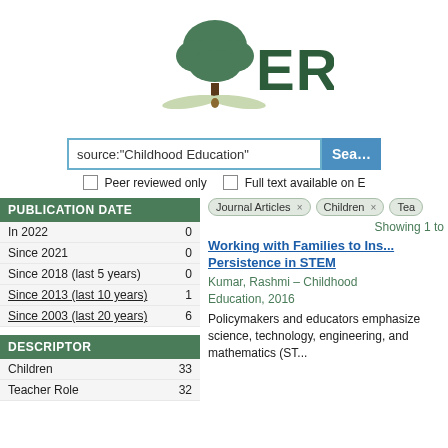[Figure (logo): ERIC logo with tree and open book, text 'ERIC' in dark green]
source:"Childhood Education"
Peer reviewed only   Full text available on E
PUBLICATION DATE
In 2022   0
Since 2021   0
Since 2018 (last 5 years)   0
Since 2013 (last 10 years)   1
Since 2003 (last 20 years)   6
DESCRIPTOR
Children   33
Teacher Role   32
Journal Articles ×   Children ×   Tea
Showing 1 to
Working with Families to Ins... Persistence in STEM
Kumar, Rashmi – Childhood Education, 2016
Policymakers and educators emphasize science, technology, engineering, and mathematics (ST...